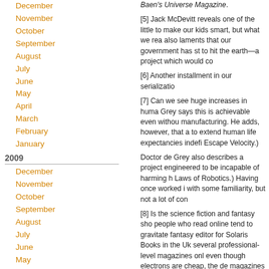December
November
October
September
August
July
June
May
April
March
February
January
2009
December
November
October
September
August
July
June
May
April
March
February
January
2008
December
November
October
September
Baen's Universe Magazine.
[5] Jack McDevitt reveals one of the little to make our kids smart, but what we rea also laments that our government has st to hit the earth—a project which would co
[6] Another installment in our serializatio
[7] Can we see huge increases in huma Grey says this is achievable even withou manufacturing. He adds, however, that a to extend human life expectancies indefi Escape Velocity.)
Doctor de Grey also describes a project engineered to be incapable of harming h Laws of Robotics.) Having once worked i with some familiarity, but not a lot of con
[8] Is the science fiction and fantasy sho people who read online tend to gravitate fantasy editor for Solaris Books in the Uk several professional-level magazines onl even though electrons are cheap, the de magazines and writers to provide reader
Direct download: TFAY_2007_10_1.mp3
Category:podcasts -- posted at: 12:01am EDT
Sat, 1 September 2007
September 1, 200
Authors Jack McDevitt, Dr. Aubrey de Gr by Uncle Timmy (chairman of LibertyCon Universe magazine. Hosted by Stephen